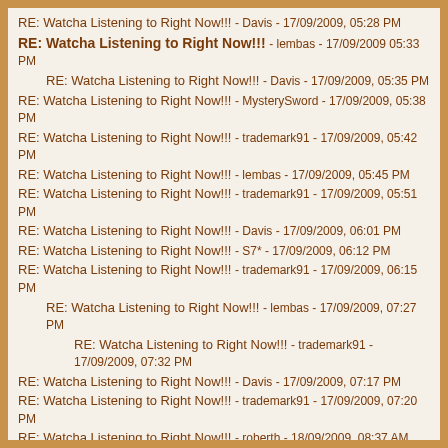RE: Watcha Listening to Right Now!!! - Davis - 17/09/2009, 05:28 PM
RE: Watcha Listening to Right Now!!! - lembas - 17/09/2009 05:33 PM
RE: Watcha Listening to Right Now!!! - Davis - 17/09/2009, 05:35 PM
RE: Watcha Listening to Right Now!!! - MysterySword - 17/09/2009, 05:38 PM
RE: Watcha Listening to Right Now!!! - trademark91 - 17/09/2009, 05:42 PM
RE: Watcha Listening to Right Now!!! - lembas - 17/09/2009, 05:45 PM
RE: Watcha Listening to Right Now!!! - trademark91 - 17/09/2009, 05:51 PM
RE: Watcha Listening to Right Now!!! - Davis - 17/09/2009, 06:01 PM
RE: Watcha Listening to Right Now!!! - S7* - 17/09/2009, 06:12 PM
RE: Watcha Listening to Right Now!!! - trademark91 - 17/09/2009, 06:15 PM
RE: Watcha Listening to Right Now!!! - lembas - 17/09/2009, 07:27 PM
RE: Watcha Listening to Right Now!!! - trademark91 - 17/09/2009, 07:32 PM
RE: Watcha Listening to Right Now!!! - Davis - 17/09/2009, 07:17 PM
RE: Watcha Listening to Right Now!!! - trademark91 - 17/09/2009, 07:20 PM
RE: Watcha Listening to Right Now!!! - roberth - 18/09/2009, 08:37 AM
RE: Watcha Listening to Right Now!!! - luna_wolf - 18/09/2009, 08:51